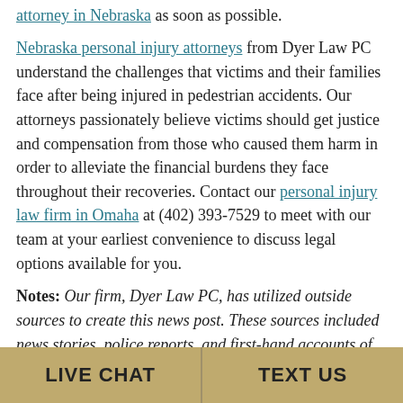attorney in Nebraska as soon as possible.
Nebraska personal injury attorneys from Dyer Law PC understand the challenges that victims and their families face after being injured in pedestrian accidents. Our attorneys passionately believe victims should get justice and compensation from those who caused them harm in order to alleviate the financial burdens they face throughout their recoveries. Contact our personal injury law firm in Omaha at (402) 393-7529 to meet with our team at your earliest convenience to discuss legal options available for you.
Notes: Our firm, Dyer Law PC, has utilized outside sources to create this news post. These sources included news stories, police reports, and first-hand accounts of
LIVE CHAT   TEXT US